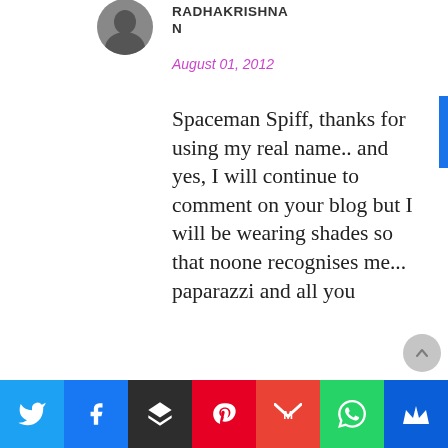[Figure (photo): Circular avatar/profile photo of the commenter, partially visible at top]
RADHAKRISHNAN
August 01, 2012
Spaceman Spiff, thanks for using my real name.. and yes, I will continue to comment on your blog but I will be wearing shades so that noone recognises me... paparazzi and all you
[Figure (infographic): Social media share bar with icons: Twitter (blue), Facebook (dark blue), Buffer (black), Pinterest (red), Gmail (red), WhatsApp (green), Crown/feedly (dark blue)]